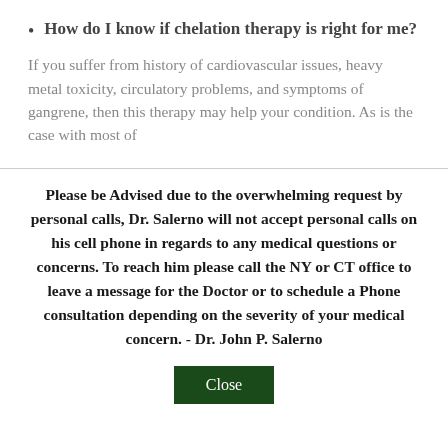How do I know if chelation therapy is right for me?
If you suffer from history of cardiovascular issues, heavy metal toxicity, circulatory problems, and symptoms of gangrene, then this therapy may help your condition. As is the case with most of
Please be Advised due to the overwhelming request by personal calls, Dr. Salerno will not accept personal calls on his cell phone in regards to any medical questions or concerns. To reach him please call the NY or CT office to leave a message for the Doctor or to schedule a Phone consultation depending on the severity of your medical concern. - Dr. John P. Salerno